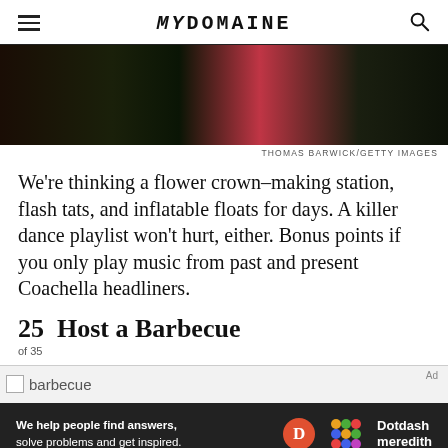MYDOMAINE
[Figure (photo): Dark hero image with pink/red inflatable float visible]
THOMAS BARWICK/GETTY IMAGES
We're thinking a flower crown–making station, flash tats, and inflatable floats for days. A killer dance playlist won't hurt, either. Bonus points if you only play music from past and present Coachella headliners.
25  Host a Barbecue
of 35
[Figure (photo): Barbecue image (broken image placeholder)]
[Figure (other): Dotdash Meredith advertisement banner: We help people find answers, solve problems and get inspired.]